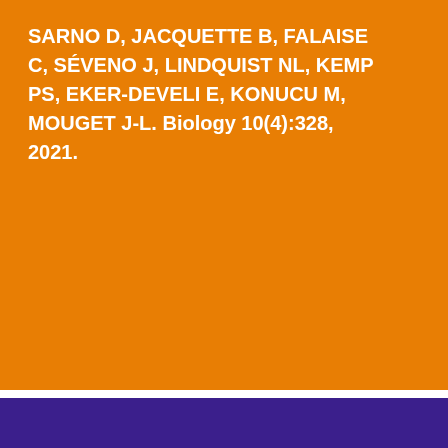SARNO D, JACQUETTE B, FALAISE C, SÉVENO J, LINDQUIST NL, KEMP PS, EKER-DEVELI E, KONUCU M, MOUGET J-L. Biology 10(4):328, 2021.
[Figure (logo): White document/report icon with horizontal lines on an orange background]